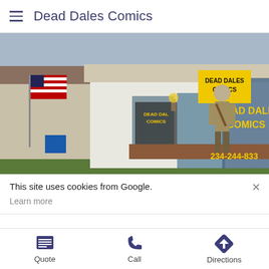Dead Dales Comics
[Figure (photo): Exterior photo of Dead Dales Comics store front with yellow signs reading DEAD DALES COMICS, phone number 234-244-833, an American flag on the left, and a zombie/skeleton figure standing at the entrance.]
This site uses cookies from Google.
Learn more
Quote  Call  Directions